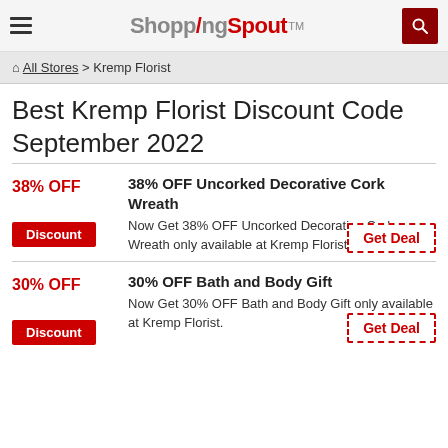ShoppingSpout™ — navigation header with hamburger menu and search button
🏠 All Stores > Kremp Florist
Best Kremp Florist Discount Code September 2022
38% OFF — 38% OFF Uncorked Decorative Cork Wreath. Now Get 38% OFF Uncorked Decorative Cork Wreath only available at Kremp Florist. [Discount] [Get Deal]
30% OFF — 30% OFF Bath and Body Gift. Now Get 30% OFF Bath and Body Gift only available at Kremp Florist. [Discount] [Get Deal]